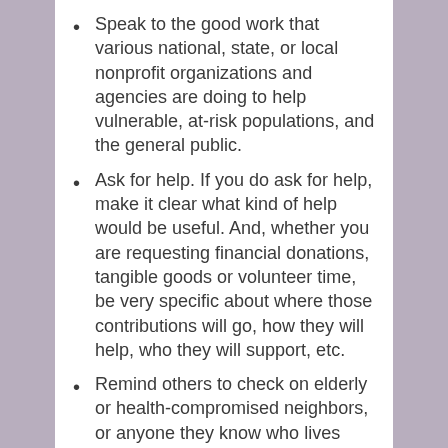Speak to the good work that various national, state, or local nonprofit organizations and agencies are doing to help vulnerable, at-risk populations, and the general public.
Ask for help. If you do ask for help, make it clear what kind of help would be useful. And, whether you are requesting financial donations, tangible goods or volunteer time, be very specific about where those contributions will go, how they will help, who they will support, etc.
Remind others to check on elderly or health-compromised neighbors, or anyone they know who lives alone and who may feel isolated; plus, creative ways to make these individuals feel connected and